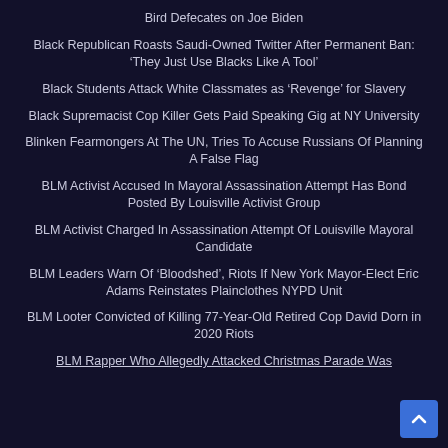Bird Defecates on Joe Biden
Black Republican Roasts Saudi-Owned Twitter After Permanent Ban: ‘They Just Use Blacks Like A Tool’
Black Students Attack White Classmates as ‘Revenge’ for Slavery
Black Supremacist Cop Killer Gets Paid Speaking Gig at NY University
Blinken Fearmongers At The UN, Tries To Accuse Russians Of Planning A False Flag
BLM Activist Accused In Mayoral Assassination Attempt Has Bond Posted By Louisville Activist Group
BLM Activist Charged In Assassination Attempt Of Louisville Mayoral Candidate
BLM Leaders Warn Of ‘Bloodshed’, Riots If New York Mayor-Elect Eric Adams Reinstates Plainclothes NYPD Unit
BLM Looter Convicted of Killing 77-Year-Old Retired Cop David Dorn in 2020 Riots
BLM Rapper Who Allegedly Attacked Christmas Parade Was...